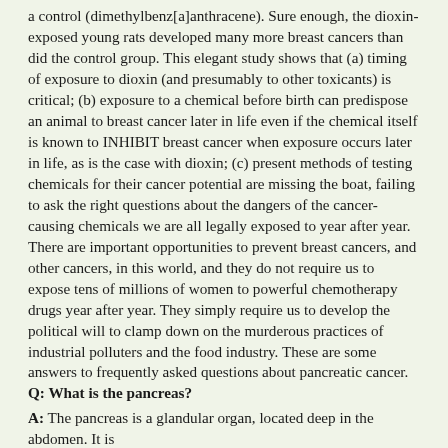a control (dimethylbenz[a]anthracene). Sure enough, the dioxin-exposed young rats developed many more breast cancers than did the control group. This elegant study shows that (a) timing of exposure to dioxin (and presumably to other toxicants) is critical; (b) exposure to a chemical before birth can predispose an animal to breast cancer later in life even if the chemical itself is known to INHIBIT breast cancer when exposure occurs later in life, as is the case with dioxin; (c) present methods of testing chemicals for their cancer potential are missing the boat, failing to ask the right questions about the dangers of the cancer-causing chemicals we are all legally exposed to year after year. There are important opportunities to prevent breast cancers, and other cancers, in this world, and they do not require us to expose tens of millions of women to powerful chemotherapy drugs year after year. They simply require us to develop the political will to clamp down on the murderous practices of industrial polluters and the food industry. These are some answers to frequently asked questions about pancreatic cancer. Q: What is the pancreas?
A: The pancreas is a glandular organ, located deep in the abdomen. It is